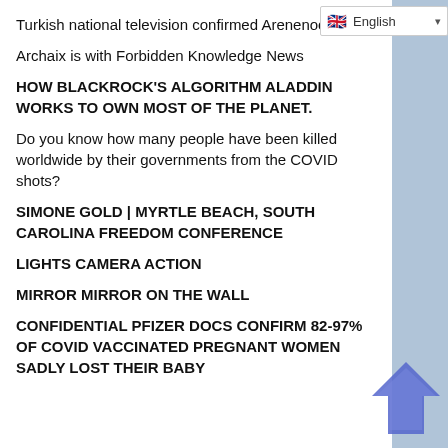Turkish national television confirmed Arenenochrome.
[Figure (screenshot): English language selector dropdown with UK flag]
Archaix is with Forbidden Knowledge News
HOW BLACKROCK'S ALGORITHM ALADDIN WORKS TO OWN MOST OF THE PLANET.
Do you know how many people have been killed worldwide by their governments from the COVID shots?
SIMONE GOLD | MYRTLE BEACH, SOUTH CAROLINA FREEDOM CONFERENCE
LIGHTS CAMERA ACTION
MIRROR MIRROR ON THE WALL
CONFIDENTIAL PFIZER DOCS CONFIRM 82-97% OF COVID VACCINATED PREGNANT WOMEN SADLY LOST THEIR BABY